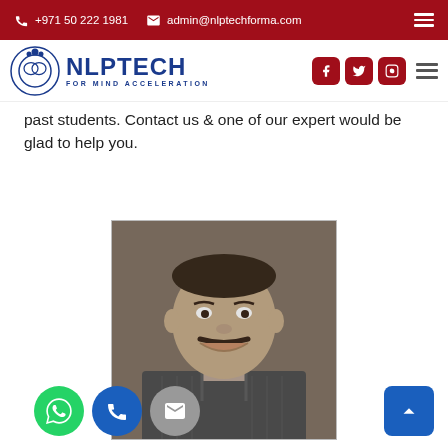+971 50 222 1981  admin@nlptechforma.com
[Figure (logo): NLP TECH FOR MIND ACCELERATION logo with gear/brain icon]
past students. Contact us & one of our expert would be glad to help you.
[Figure (photo): Black and white portrait photo of a smiling man in a striped shirt]